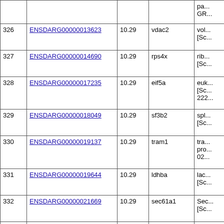|  | Gene ID | Score | Gene Name | Description |
| --- | --- | --- | --- | --- |
|  |  |  |  | pa...
GR... |
| 326 | ENSDARG00000013623 | 10.29 | vdac2 | vol...
[Sc... |
| 327 | ENSDARG00000014690 | 10.29 | rps4x | rib...
[Sc... |
| 328 | ENSDARG00000017235 | 10.29 | eif5a | euk...
[Sc...
222... |
| 329 | ENSDARG00000018049 | 10.29 | sf3b2 | spl...
[Sc... |
| 330 | ENSDARG00000019137 | 10.29 | tram1 | tra...
pro...
02... |
| 331 | ENSDARG00000019644 | 10.29 | ldhba | lac...
[Sc... |
| 332 | ENSDARG00000021669 | 10.29 | sec61a1 | Sec...
[Sc... |
| 333 | ENSDARG00000023145 | 10.29 | pum1 | pu...
[Sc...
207... |
|  |  |  |  | sol...
ca... |